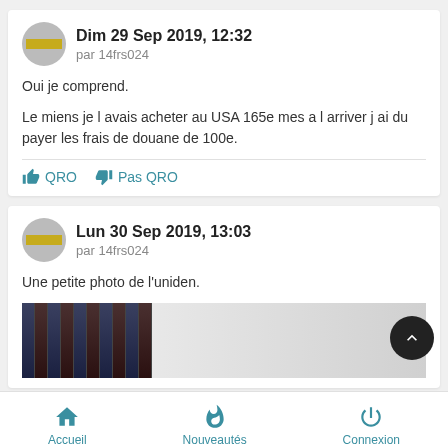Dim 29 Sep 2019, 12:32
par 14frs024
Oui je comprend.

Le miens je l avais acheter au USA 165e mes a l arriver j ai du payer les frais de douane de 100e.
QRO   Pas QRO
Lun 30 Sep 2019, 13:03
par 14frs024
Une petite photo de l'uniden.
[Figure (photo): Partial photo showing DVD/game cases stacked vertically on the left side, and a grey/silver object on the right (likely the Uniden device)]
Accueil   Nouveautés   Connexion